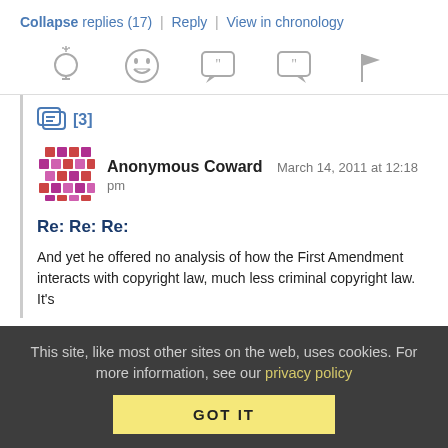Collapse replies (17) | Reply | View in chronology
[Figure (infographic): Row of 5 reaction icons: lightbulb, laughing emoji, quote bubble (66), quote bubble (99), flag]
[3]
[Figure (illustration): Purple mosaic/diamond pattern avatar for Anonymous Coward]
Anonymous Coward   March 14, 2011 at 12:18 pm
Re: Re: Re:
And yet he offered no analysis of how the First Amendment interacts with copyright law, much less criminal copyright law. It's
This site, like most other sites on the web, uses cookies. For more information, see our privacy policy
GOT IT